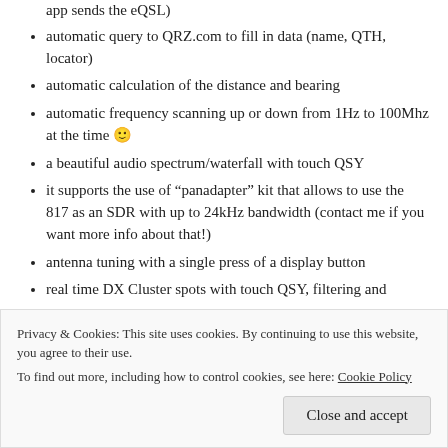app sends the eQSL)
automatic query to QRZ.com to fill in data (name, QTH, locator)
automatic calculation of the distance and bearing
automatic frequency scanning up or down from 1Hz to 100Mhz at the time 🙂
a beautiful audio spectrum/waterfall with touch QSY
it supports the use of “panadapter” kit that allows to use the 817 as an SDR with up to 24kHz bandwidth (contact me if you want more info about that!)
antenna tuning with a single press of a display button
real time DX Cluster spots with touch QSY, filtering and
Privacy & Cookies: This site uses cookies. By continuing to use this website, you agree to their use.
To find out more, including how to control cookies, see here: Cookie Policy
Close and accept